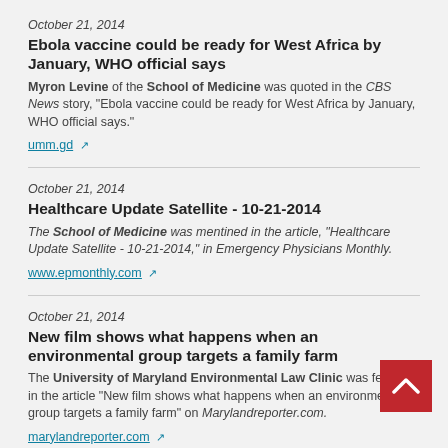October 21, 2014
Ebola vaccine could be ready for West Africa by January, WHO official says
Myron Levine of the School of Medicine was quoted in the CBS News story, "Ebola vaccine could be ready for West Africa by January, WHO official says."
umm.gd
October 21, 2014
Healthcare Update Satellite - 10-21-2014
The School of Medicine was mentined in the article, "Healthcare Update Satellite - 10-21-2014," in Emergency Physicians Monthly.
www.epmonthly.com
October 21, 2014
New film shows what happens when an environmental group targets a family farm
The University of Maryland Environmental Law Clinic was featured in the article "New film shows what happens when an environmental group targets a family farm" on Marylandreporter.com.
marylandreporter.com
October 21, 2014